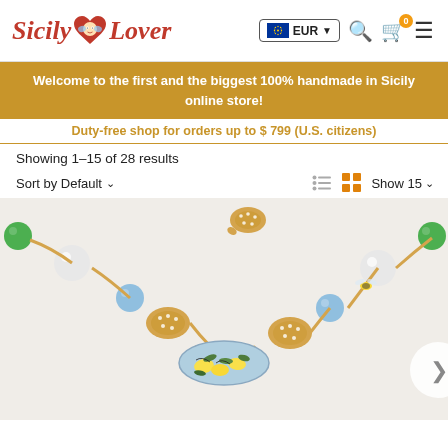Sicily Lover — EUR — Search — Cart (0) — Menu
Welcome to the first and the biggest 100% handmade in Sicily online store!
Duty-free shop for orders up to $ 799 (U.S. citizens)
Showing 1–15 of 28 results
Sort by Default ∨    Show 15 ∨
[Figure (photo): Close-up photo of a handmade Sicilian necklace featuring green beads, white beads, blue cat-eye stones, gold-tone filigree oval charms with rhinestones, and a central hand-painted ceramic piece decorated with lemons and green leaves on a light blue background.]